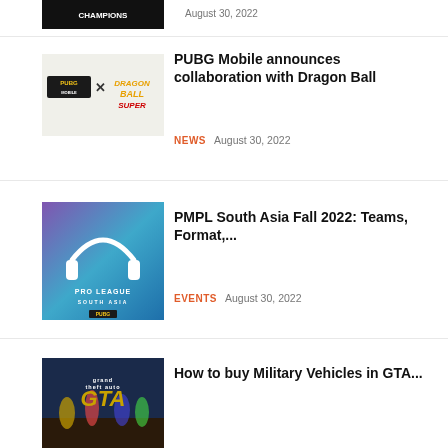[Figure (screenshot): Partial thumbnail of a gaming article at top of page]
August 30, 2022
[Figure (photo): PUBG Mobile x Dragon Ball Super logo image]
PUBG Mobile announces collaboration with Dragon Ball
NEWS   August 30, 2022
[Figure (photo): PUBG Mobile Pro League South Asia logo on blue/purple background]
PMPL South Asia Fall 2022: Teams, Format,...
EVENTS   August 30, 2022
[Figure (photo): Grand Theft Auto Online Criminal Enterprises cover art]
How to buy Military Vehicles in GTA...
GAMING   August 30, 2022